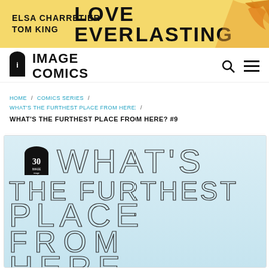[Figure (illustration): Banner advertisement for 'Love Everlasting' comic by Elsa Charretier and Tom King, yellow background with orange flame decorations]
[Figure (logo): Image Comics logo: black oval with 'i' shape and text IMAGE COMICS in bold black]
HOME / COMICS SERIES / WHAT'S THE FURTHEST PLACE FROM HERE / WHAT'S THE FURTHEST PLACE FROM HERE? #9
[Figure (illustration): Comic book cover for 'What's the Furthest Place From Here?' #9, light blue background with large outlined lettering and Image Comics 30th anniversary badge]